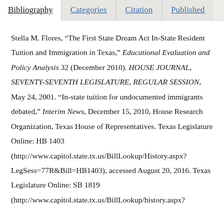Bibliography | Categories | Citation | Published
Stella M. Flores, “The First State Dream Act In-State Resident Tuition and Immigration in Texas,” Educational Evaluation and Policy Analysis 32 (December 2010). HOUSE JOURNAL, SEVENTY-SEVENTH LEGISLATURE, REGULAR SESSION, May 24, 2001. “In-state tuition for undocumented immigrants debated,” Interim News, December 15, 2010, House Research Organization, Texas House of Representatives. Texas Legislature Online: HB 1403 (http://www.capitol.state.tx.us/BillLookup/History.aspx?LegSess=77R&Bill=HB1403), accessed August 20, 2016. Texas Legislature Online: SB 1819 (http://www.capitol.state.tx.us/BillLookup/history.aspx?